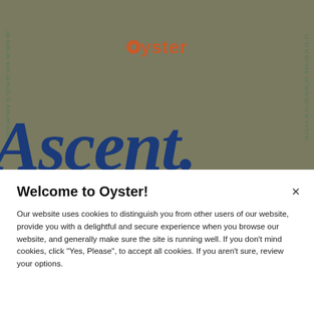[Figure (screenshot): Oyster website header with olive/khaki background, coordinate text running vertically on left and right sides, orange Oyster logo in center, and large italic blue 'Ascent.' text across bottom]
Welcome to Oyster!
Our website uses cookies to distinguish you from other users of our website, provide you with a delightful and secure experience when you browse our website, and generally make sure the site is running well. If you don't mind cookies, click "Yes, Please", to accept all cookies. If you aren't sure, review your options.